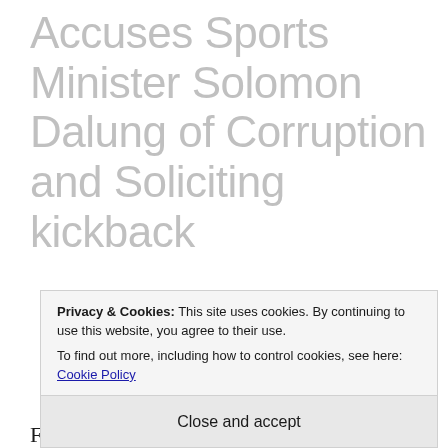Accuses Sports Minister Solomon Dalung of Corruption and Soliciting kickback
Former world boxing cruiser-weight champion Bash Ali has accused the Minister of Youth and Sports Solomon Dalung as well as other top
Privacy & Cookies: This site uses cookies. By continuing to use this website, you agree to their use.
To find out more, including how to control cookies, see here: Cookie Policy
Close and accept